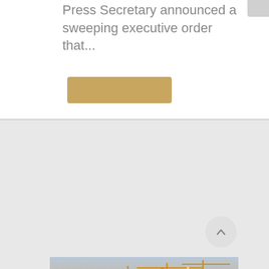Press Secretary announced a sweeping executive order that...
[Figure (other): Gold/tan colored rectangular button element]
[Figure (photo): Construction site at dusk/sunset showing multiple buildings under construction with tower cranes and scaffolding against an orange-yellow sky]